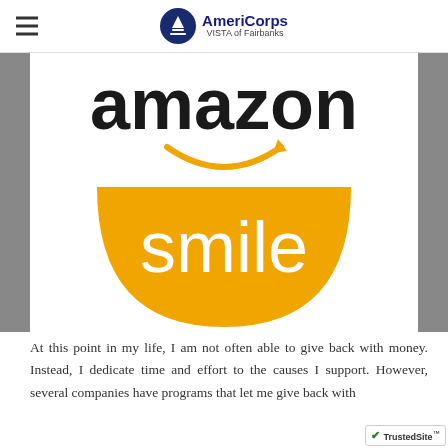AmeriCorps VISTA of Fairbanks
[Figure (logo): Amazon Smile logo — black 'amazon' wordmark with orange arrow-smile below it, and a large orange semicircle/bowl shape with white 'smile' text inside]
At this point in my life, I am not often able to give back with money. Instead, I dedicate time and effort to the causes I support. However, several companies have programs that let me give back with